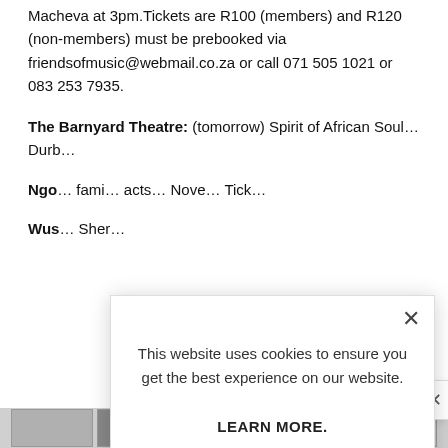Macheva at 3pm.Tickets are R100 (members) and R120 (non-members) must be prebooked via friendsofmusic@webmail.co.za or call 071 505 1021 or 083 253 7935.
The Barnyard Theatre: (tomorrow) Spirit of African Soul… Durb…
Ngo… fami… acts… Nove… Tick…
Wus… Sher…
[Figure (screenshot): Cookie consent modal dialog overlaying a webpage. The modal contains the text 'This website uses cookies to ensure you get the best experience on our website.' followed by a bold 'LEARN MORE.' link and an 'ACCEPT COOKIES' button with light blue background.]